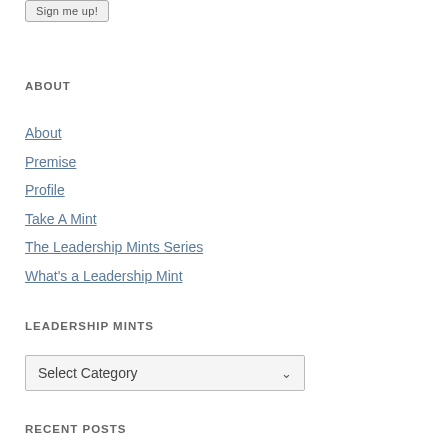Sign me up!
ABOUT
About
Premise
Profile
Take A Mint
The Leadership Mints Series
What's a Leadership Mint
LEADERSHIP MINTS
Select Category
RECENT POSTS